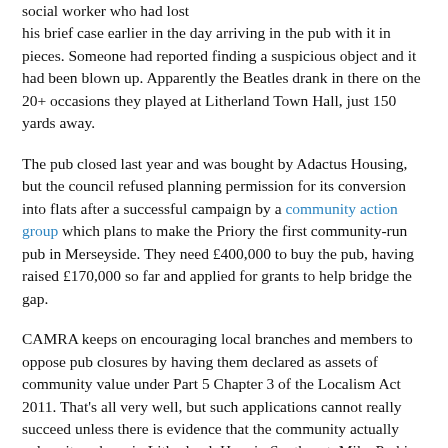social worker who had lost his brief case earlier in the day arriving in the pub with it in pieces. Someone had reported finding a suspicious object and it had been blown up. Apparently the Beatles drank in there on the 20+ occasions they played at Litherland Town Hall, just 150 yards away.
The pub closed last year and was bought by Adactus Housing, but the council refused planning permission for its conversion into flats after a successful campaign by a community action group which plans to make the Priory the first community-run pub in Merseyside. They need £400,000 to buy the pub, having raised £170,000 so far and applied for grants to help bridge the gap.
CAMRA keeps on encouraging local branches and members to oppose pub closures by having them declared as assets of community value under Part 5 Chapter 3 of the Localism Act 2011. That's all very well, but such applications cannot really succeed unless there is evidence that the community actually values its pub, as in Litherland. Here in Southport, Mike Perkins of local CAMRA has done sterling work in